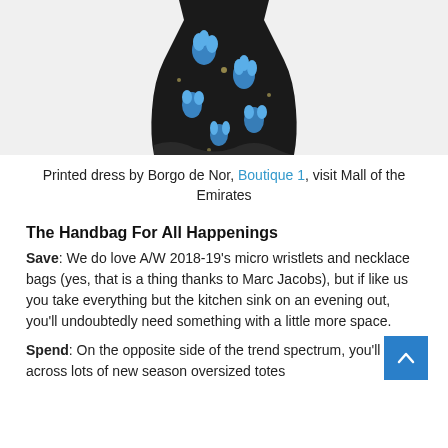[Figure (photo): A floral printed dress (Borgo de Nor) shown partially, black background with blue flowers, displayed against a light grey background. Only the lower portion of the dress is visible.]
Printed dress by Borgo de Nor, Boutique 1, visit Mall of the Emirates
The Handbag For All Happenings
Save: We do love A/W 2018-19’s micro wristlets and necklace bags (yes, that is a thing thanks to Marc Jacobs), but if like us you take everything but the kitchen sink on an evening out, you’ll undoubtedly need something with a little more space.
Spend: On the opposite side of the trend spectrum, you’ll come across lots of new season oversized totes